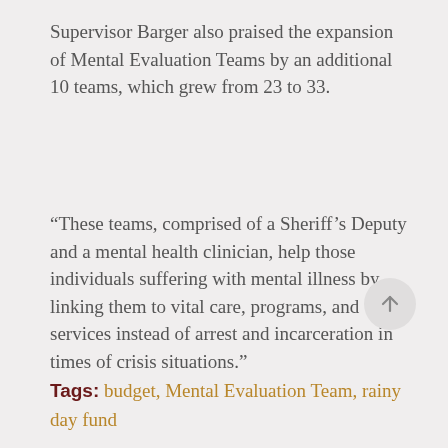Supervisor Barger also praised the expansion of Mental Evaluation Teams by an additional 10 teams, which grew from 23 to 33.
“These teams, comprised of a Sheriff’s Deputy and a mental health clinician, help those individuals suffering with mental illness by linking them to vital care, programs, and services instead of arrest and incarceration in times of crisis situations.”
Tags: budget, Mental Evaluation Team, rainy day fund